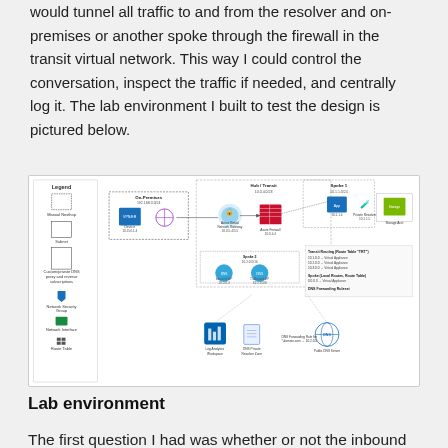would tunnel all traffic to and from the resolver and on-premises or another spoke through the firewall in the transit virtual network. This way I could control the conversation, inspect the traffic if needed, and centrally log it. The lab environment I built to test the design is pictured below.
[Figure (network-graph): Network architecture diagram showing a lab environment with on-premises components, transit virtual network with Azure Firewall, spoke networks, DNS resolver, NVA appliances, route tables, and DNS forwarding rules. Includes legend with icons for Manual Nexthop, Subnet, Custom/private DNS, Network Security Group, Network Interface, and Route Table.]
Lab environment
The first question I had was whether or not the inbound